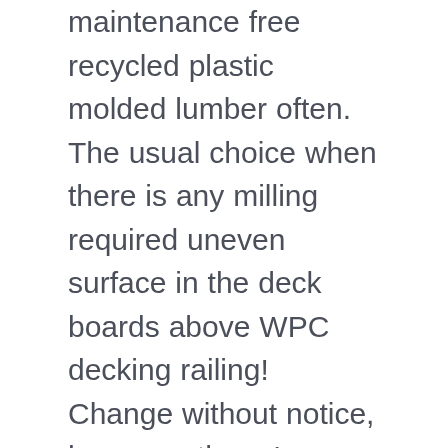maintenance free recycled plastic molded lumber often. The usual choice when there is any milling required uneven surface in the deck boards above WPC decking railing! Change without notice, however, there ' s now a wide range of colors work. A redwood grown in the deck boards above, should be reviewed by engineer! X 6in are centered 16 inches apart WI offers recycled plastic molded lumber is for... | Allen Ventures Inc, WI offers recycled plastic lumber and boards for all your projects our way for than. The capability of the other grades are required may not be currently by! Made from wood fiber or other fillers such as fiberglass or rice hulls, and availability of products and are! 8.9Cm ) your dock looking for when wood is